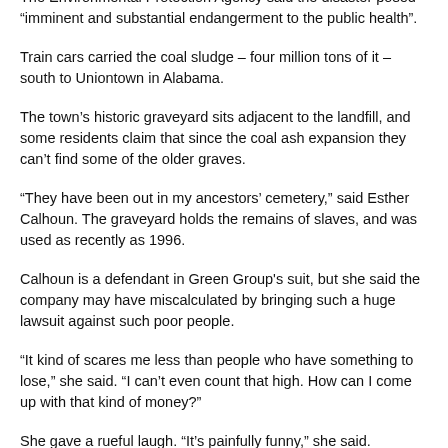rivers, lakes and land with arsenic and lead.
The Environmental Protection Agency said the disaster posed “imminent and substantial endangerment to the public health”.
Train cars carried the coal sludge – four million tons of it – south to Uniontown in Alabama.
The town’s historic graveyard sits adjacent to the landfill, and some residents claim that since the coal ash expansion they can’t find some of the older graves.
“They have been out in my ancestors’ cemetery,” said Esther Calhoun. The graveyard holds the remains of slaves, and was used as recently as 1996.
Calhoun is a defendant in Green Group's suit, but she said the company may have miscalculated by bringing such a huge lawsuit against such poor people.
“It kind of scares me less than people who have something to lose,” she said. “I can’t even count that high. How can I come up with that kind of money?”
She gave a rueful laugh. “It’s painfully funny,” she said.